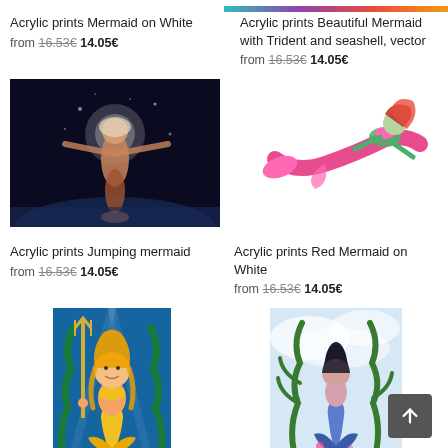Acrylic prints Mermaid on White
from 16.53€ 14.05€
[Figure (photo): Dark underwater photo of a mermaid jumping with arms spread and glowing halo behind her]
Acrylic prints Jumping mermaid
from 16.53€ 14.05€
[Figure (illustration): Cartoon illustration of a golden-haired mermaid holding a trident with seaweed background]
Acrylic prints Beautiful Mermaid with Trident and seashell, vector
from 16.53€ 14.05€
[Figure (illustration): 3D illustration of a red-haired mermaid in pink and red outfit swimming on white background]
Acrylic prints Red Mermaid on White
from 16.53€ 14.05€
[Figure (photo): Photo of a blue mermaid doll with seaweed/plants in cloudy sky background]